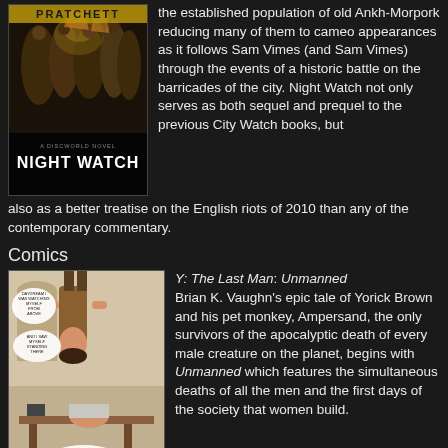[Figure (photo): Book cover of Night Watch by Terry Pratchett, Discworld novel, showing a dark scene with figures]
the established population of old Ankh-Morpork reducing many of them to cameo appearances as it follows Sam Vimes (and Sam Vimes) through the events of a historic battle on the barricades of the city. Night Watch not only serves as both sequel and prequel to the previous City Watch books, but also as a better treatise on the English riots of 2010 than any of the contemporary commentary.
Comics
[Figure (illustration): Comic panel from Y: The Last Man showing a figure hanging upside down in what appears to be an indoor scene with speech bubbles]
Y: The Last Man: Unmanned Brian K. Vaughn's epic tale of Yorick Brown and his pet monkey, Ampersand, the only survivors of the apocalyptic death of every male creature on the planet, begins with Unmanned which features the simultaneous deaths of all the men and the first days of the society that women build.